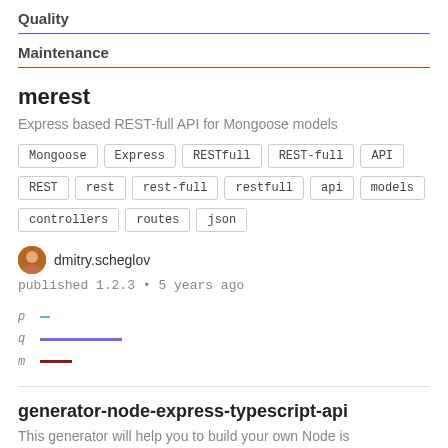Quality
Maintenance
merest
Express based REST-full API for Mongoose models
Mongoose
Express
RESTfull
REST-full
API
REST
rest
rest-full
restfull
api
models
controllers
routes
json
dmitry.scheglov
published 1.2.3 • 5 years ago
[Figure (infographic): Metrics bars: p (cyan short), q (purple long), m (dark red medium)]
generator-node-express-typescript-api
This generator will help you to build your own Node is